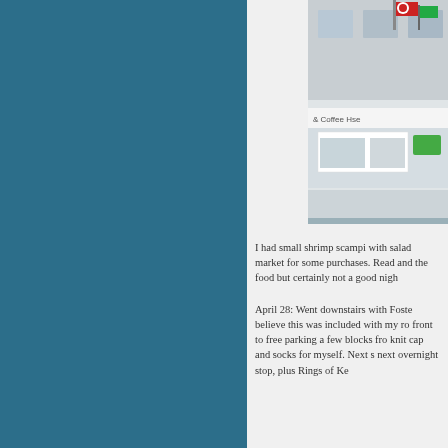[Figure (photo): Exterior photo of a building with a coffee shop sign and flags visible, partially cropped on the right side of the page]
I had small shrimp scampi with salad market for some purchases. Read and the food but certainly not a good nigh
April 28: Went downstairs with Foste believe this was included with my ro front to free parking a few blocks fro knit cap and socks for myself. Next s next overnight stop, plus Rings of Ke